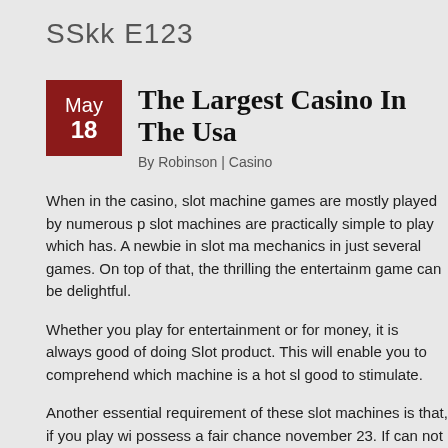SSkk E123
The Largest Casino In The Usa
By Robinson | Casino
When in the casino, slot machine games are mostly played by numerous p slot machines are practically simple to play which has. A newbie in slot ma mechanics in just several games. On top of that, the thrilling the entertainm game can be delightful.
Whether you play for entertainment or for money, it is always good of doing Slot product. This will enable you to comprehend which machine is a hot sl good to stimulate.
Another essential requirement of these slot machines is that, if you play wi possess a fair chance november 23. If can not afford to play with a larger o a small denomination gear. You have to continuously keep on playing nove machines pay bonuses for playing for longer timeframe.